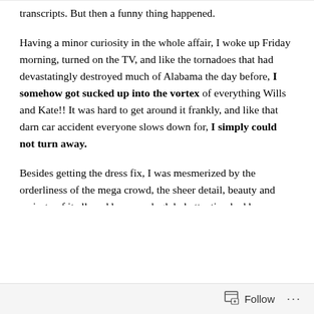transcripts.  But then a funny thing happened.
Having a minor curiosity in the whole affair, I woke up Friday morning, turned on the TV, and like the tornadoes that had devastatingly destroyed much of Alabama the day before, I somehow got sucked up into the vortex of everything Wills and Kate!!  It was hard to get around it frankly, and like that darn car accident everyone slows down for, I simply could not turn away.
Besides getting the dress fix, I was mesmerized by the orderliness of the mega crowd, the sheer detail, beauty and majesty of it all, and how much global attention had been placed on this singular event, which unified a nation and the world. I thought about how people can indeed come together in positive, dare I say, innocent ways,
Follow